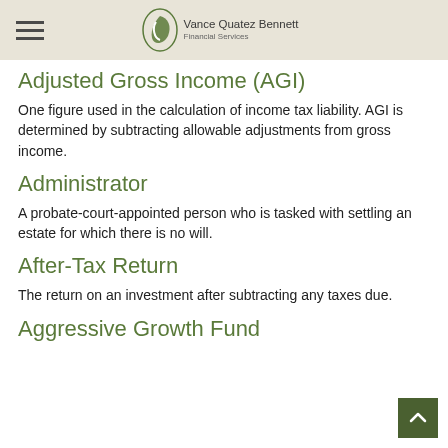Vance Quatez Bennett Financial Services
Adjusted Gross Income (AGI)
One figure used in the calculation of income tax liability. AGI is determined by subtracting allowable adjustments from gross income.
Administrator
A probate-court-appointed person who is tasked with settling an estate for which there is no will.
After-Tax Return
The return on an investment after subtracting any taxes due.
Aggressive Growth Fund